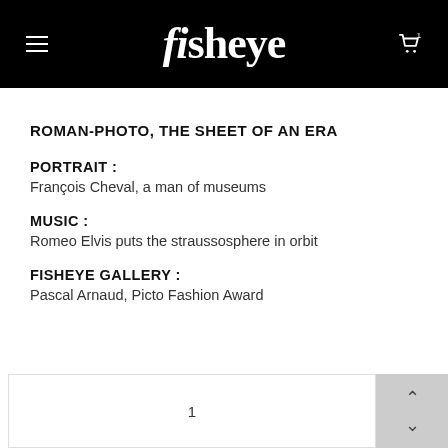fisheye
ROMAN-PHOTO, THE SHEET OF AN ERA
PORTRAIT :
François Cheval, a man of museums
MUSIC :
Romeo Elvis puts the straussosphere in orbit
FISHEYE GALLERY :
Pascal Arnaud, Picto Fashion Award
1